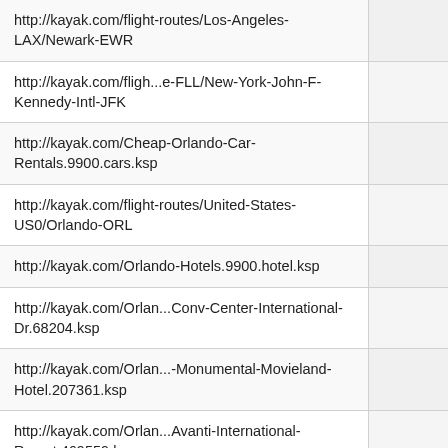| URL |  |
| --- | --- |
| http://kayak.com/flight-routes/Los-Angeles-LAX/Newark-EWR |  |
| http://kayak.com/fligh...e-FLL/New-York-John-F-Kennedy-Intl-JFK |  |
| http://kayak.com/Cheap-Orlando-Car-Rentals.9900.cars.ksp |  |
| http://kayak.com/flight-routes/United-States-US0/Orlando-ORL |  |
| http://kayak.com/Orlando-Hotels.9900.hotel.ksp |  |
| http://kayak.com/Orlan...Conv-Center-International-Dr.68204.ksp |  |
| http://kayak.com/Orlan...-Monumental-Movieland-Hotel.207361.ksp |  |
| http://kayak.com/Orlan...Avanti-International-Resort.469559.ksp |  |
| http://kayak.com/fligh...utes/Charlotte-Douglas-CLT/Orlando-MCO |  |